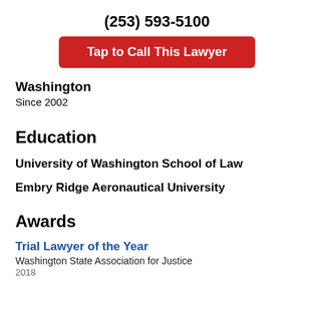(253) 593-5100
Tap to Call This Lawyer
Washington
Since 2002
Education
University of Washington School of Law
Embry Ridge Aeronautical University
Awards
Trial Lawyer of the Year
Washington State Association for Justice
2018